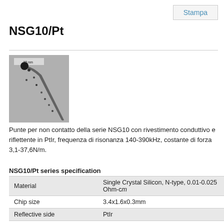Stampa
NSG10/Pt
[Figure (photo): Electron microscope image of an AFM tip/cantilever with scale bar showing 20 nm]
Punte per non contatto della serie NSG10 con rivestimento conduttivo e riflettente in PtIr, frequenza di risonanza 140-390kHz, costante di forza 3,1-37,6N/m.
|  |  |
| --- | --- |
| Material | Single Crystal Silicon, N-type, 0.01-0.025 Ohm-cm |
| Chip size | 3.4x1.6x0.3mm |
| Reflective side | PtIr |
| Conductive coating | PtIr (25nm), Cr adhesion layer (25A) |
| Cantilever number | 1 rectangular |
| Tip curvature radius | ~ 35nm |